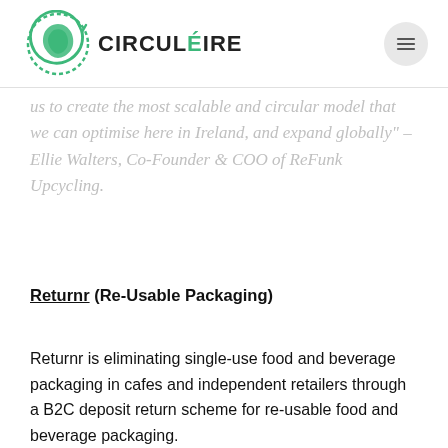CIRCUÉIRE
us to create the most scalable and circular model that we can optimise here in Ireland, and expand globally" – Ellie Walters, Co-Founder & COO of ReFunk Upcycling.
Returnr (Re-Usable Packaging)
Returnr is eliminating single-use food and beverage packaging in cafes and independent retailers through a B2C deposit return scheme for re-usable food and beverage packaging.